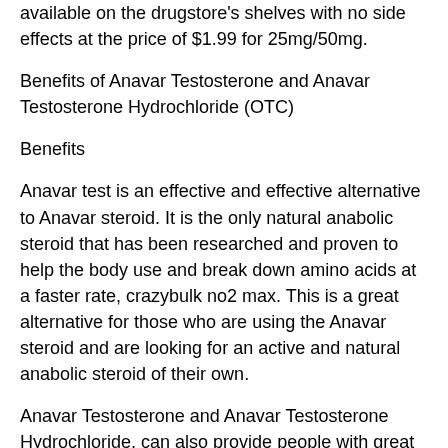available on the drugstore's shelves with no side effects at the price of $1.99 for 25mg/50mg.
Benefits of Anavar Testosterone and Anavar Testosterone Hydrochloride (OTC)
Benefits
Anavar test is an effective and effective alternative to Anavar steroid. It is the only natural anabolic steroid that has been researched and proven to help the body use and break down amino acids at a faster rate, crazybulk no2 max. This is a great alternative for those who are using the Anavar steroid and are looking for an active and natural anabolic steroid of their own.
Anavar Testosterone and Anavar Testosterone Hydrochloride, can also provide people with great muscle growth